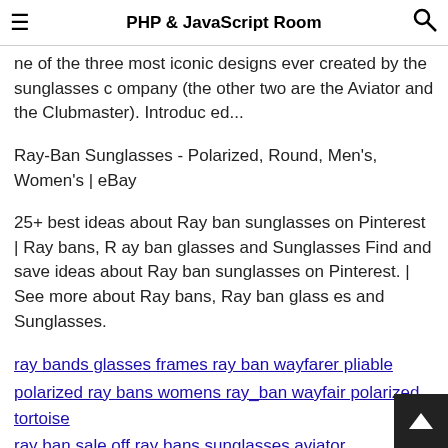PHP & JavaScript Room
ne of the three most iconic designs ever created by the sunglasses company (the other two are the Aviator and the Clubmaster). Introduced...
Ray-Ban Sunglasses - Polarized, Round, Men's, Women's | eBay
25+ best ideas about Ray ban sunglasses on Pinterest | Ray bans, Ray ban glasses and Sunglasses Find and save ideas about Ray ban sunglasses on Pinterest. | See more about Ray bans, Ray ban glasses and Sunglasses.
ray bands glasses frames ray ban wayfarer pliable
polarized ray bans womens ray_ban wayfair polarized tortoise
ray ban sale off ray bans sunglasses aviator
ray_ban prices in egypt ray ban clubmaster glasses cheap
blue aviator sunglasses ray_ban ray ban classic erika price
mens ray_ban sunglasses rb4039 sunglasses wayfarer tartaru